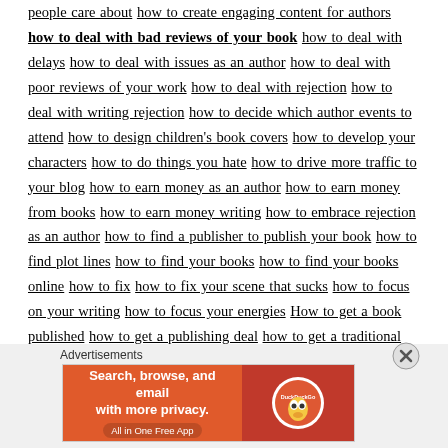people care about how to create engaging content for authors how to deal with bad reviews of your book how to deal with delays how to deal with issues as an author how to deal with poor reviews of your work how to deal with rejection how to deal with writing rejection how to decide which author events to attend how to design children's book covers how to develop your characters how to do things you hate how to drive more traffic to your blog how to earn money as an author how to earn money from books how to earn money writing how to embrace rejection as an author how to find a publisher to publish your book how to find plot lines how to find your books how to find your books online how to fix how to fix your scene that sucks how to focus on your writing how to focus your energies How to get a book published how to get a publishing deal how to get a traditional publishing contract how to get book reviews how to get excited how to get inside your customer's head how to get into the writing flow how to get into your reader's mind how to get more business as an author how to get new customers with special offers how to get out of a rut how to get out of a writing rut how to get over shyness as an author how to get over your fear of what people think how to get over your fears as an author how to get paid for your writing how to get paid
[Figure (other): DuckDuckGo advertisement banner: orange left panel with text 'Search, browse, and email with more privacy. All in One Free App', red right panel with DuckDuckGo logo duck icon in white circle]